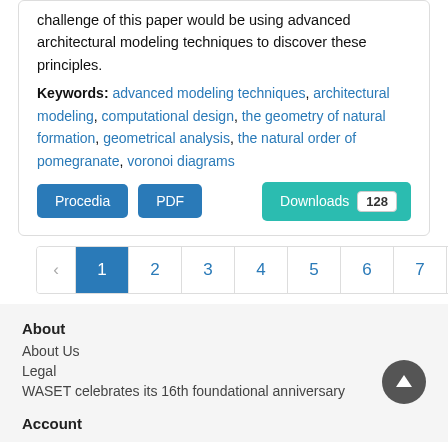challenge of this paper would be using advanced architectural modeling techniques to discover these principles.
Keywords: advanced modeling techniques, architectural modeling, computational design, the geometry of natural formation, geometrical analysis, the natural order of pomegranate, voronoi diagrams
Procedia  PDF  Downloads 128
‹ 1 2 3 4 5 6 7 8 9 10 ... 1
About
About Us
Legal
WASET celebrates its 16th foundational anniversary
Account